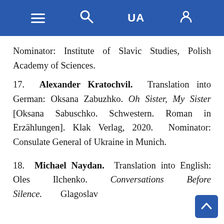Navigation bar with menu, search, UA language toggle, and user account icons
Nominator: Institute of Slavic Studies, Polish Academy of Sciences.
17. Alexander Kratochvil. Translation into German: Oksana Zabuzhko. Oh Sister, My Sister [Oksana Sabuschko. Schwestern. Roman in Erzählungen]. Klak Verlag, 2020. Nominator: Consulate General of Ukraine in Munich.
18. Michael Naydan. Translation into English: Oles Ilchenko. Conversations Before Silence. Glagoslav